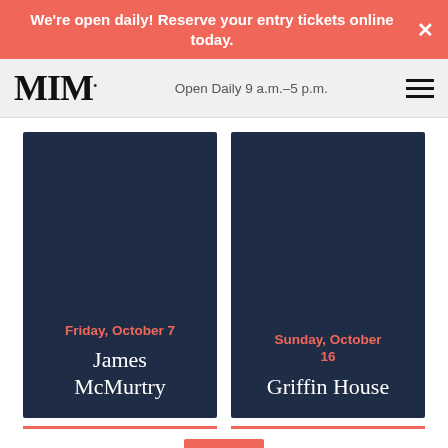We're open daily! Reserve your entry tickets online today.
MIM — Open Daily 9 a.m.–5 p.m.
[Figure (illustration): Dark navy card for event: Friday, October 7 — James McMurtry]
[Figure (illustration): Dark navy card for event: Sunday, October 16 — Griffin House]